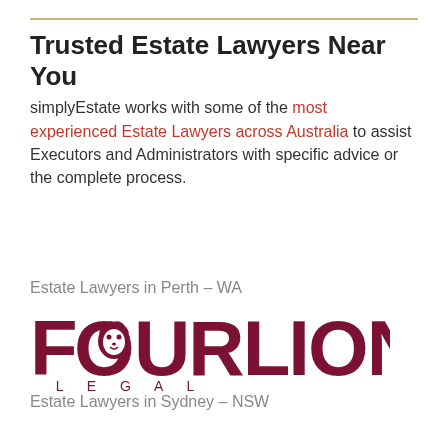Trusted Estate Lawyers Near You
simplyEstate works with some of the most experienced Estate Lawyers across Australia to assist Executors and Administrators with specific advice or the complete process.
Estate Lawyers in Perth – WA
[Figure (logo): Four Lion Legal logo in dark red/maroon color, large bold text FOURLION with a lion head incorporated into the letter O, and LEGAL in spaced capital letters beneath]
Estate Lawyers in Sydney – NSW